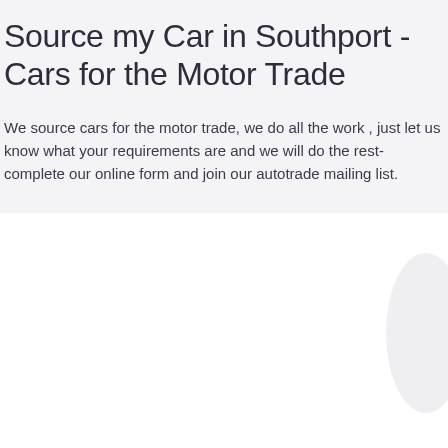Source my Car in Southport - Cars for the Motor Trade
We source cars for the motor trade, we do all the work , just let us know what your requirements are and we will do the rest- complete our online form and join our autotrade mailing list.